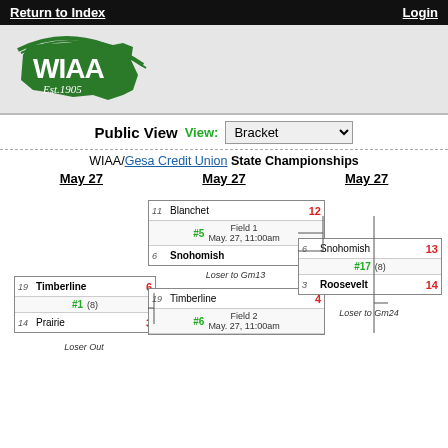Return to Index | Login
[Figure (logo): WIAA Est. 1905 logo - green Washington state outline with WIAA text]
Public View  View: Bracket
WIAA/Gesa Credit Union State Championships
May 27  May 27  May 27
[Figure (other): Tournament bracket showing: Game with Blanchet (11) score 12 vs Snohomish (6) score 13, Field 1 May 27 11:00am, seed #5. Timberline (19) score 6 vs Prairie (14) score 3, seed #1, (8), Loser Out. Timberline (19) score 4 vs Field 2 May 27 11:00am seed #6. Snohomish (6) score 13 vs Roosevelt (3) score 14, seed #17, (8), Loser to Gm24. Loser to Gm13.]